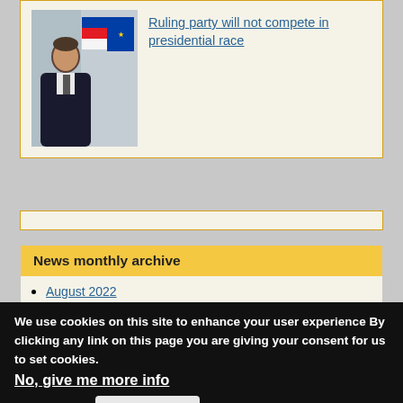[Figure (photo): Photo of a man in dark suit with Slovenian and EU flags in background]
Ruling party will not compete in presidential race
News monthly archive
August 2022
July 2022
June 2022
May 2022
April 2022
March 2022
February 2022
Privacy settings
We use cookies on this site to enhance your user experience By clicking any link on this page you are giving your consent for us to set cookies.
No, give me more info
OK, I agree
No, thanks